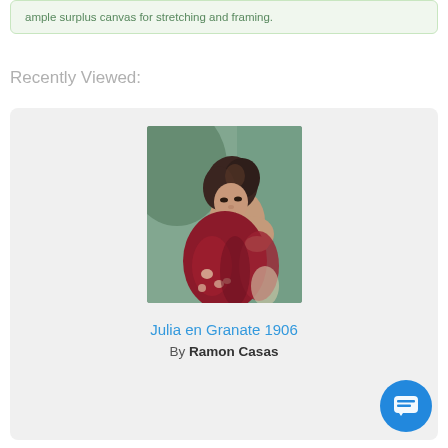ample surplus canvas for stretching and framing.
Recently Viewed:
[Figure (photo): Painting titled 'Julia en Granate 1906' by Ramon Casas showing a woman in a dark red dress against a green background]
Julia en Granate 1906
By Ramon Casas